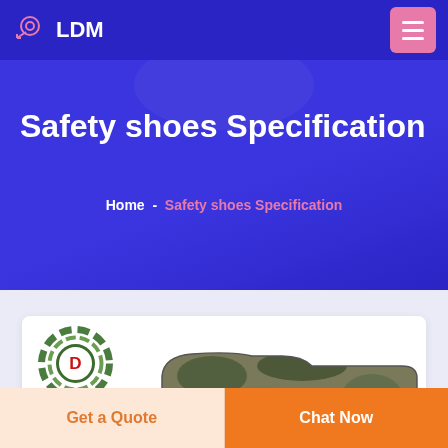LDM
Safety shoes Specification
Home  -  Safety shoes Specification
[Figure (logo): DEEKON brand logo: circular target/crosshair design in green camouflage colors with red D letter in center, and DEEKON text in red below]
[Figure (photo): Camouflage military safety boot/shoe in ACU digital camouflage pattern]
Get a Quote
Chat Now